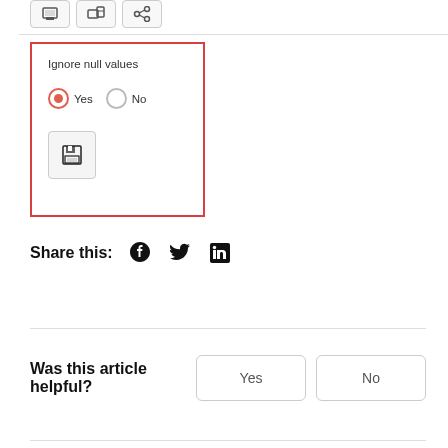[Figure (screenshot): UI panel with red border showing 'Ignore null values' option with Yes (selected, orange radio) and No radio buttons, plus a save (floppy disk) button]
Share this:
Was this article helpful?